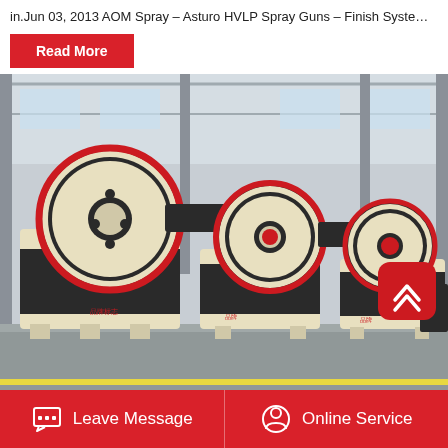in.Jun 03, 2013 AOM Spray – Asturo HVLP Spray Guns – Finish Syste…
Read More
[Figure (photo): Factory floor showing three large industrial jaw crushers in cream/beige and black color with red-rimmed flywheels, lined up in a manufacturing warehouse with steel structure roof and concrete floor.]
Leave Message
Online Service